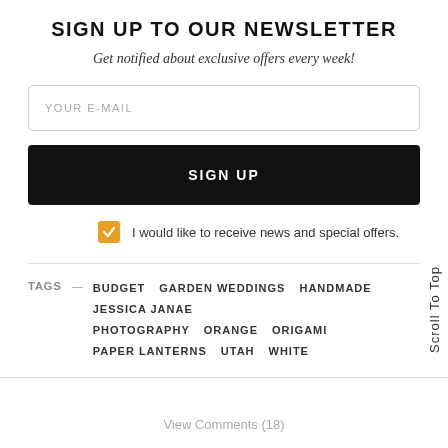SIGN UP TO OUR NEWSLETTER
Get notified about exclusive offers every week!
YOUR E-MAIL
SIGN UP
I would like to receive news and special offers.
TAGS — BUDGET   GARDEN WEDDINGS   HANDMADE   JESSICA JANAE PHOTOGRAPHY   ORANGE   ORIGAMI   PAPER LANTERNS   UTAH   WHITE
Scroll To Top
View Comments (18)